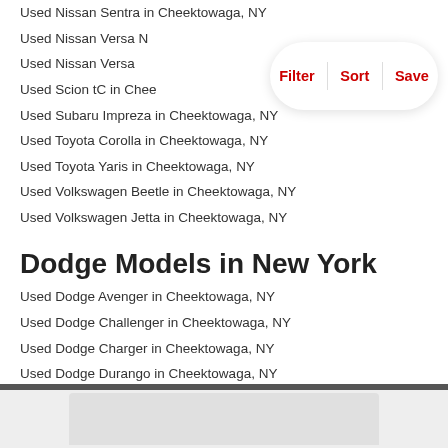Used Nissan Sentra in Cheektowaga, NY
Used Nissan Versa N…
Used Nissan Versa…
Used Scion tC in Chee…
Used Subaru Impreza in Cheektowaga, NY
Used Toyota Corolla in Cheektowaga, NY
Used Toyota Yaris in Cheektowaga, NY
Used Volkswagen Beetle in Cheektowaga, NY
Used Volkswagen Jetta in Cheektowaga, NY
Dodge Models in New York
Used Dodge Avenger in Cheektowaga, NY
Used Dodge Challenger in Cheektowaga, NY
Used Dodge Charger in Cheektowaga, NY
Used Dodge Durango in Cheektowaga, NY
Used Dodge Grand Caravan in Cheektowaga, NY
Used Dodge Journey in Cheektowaga, NY